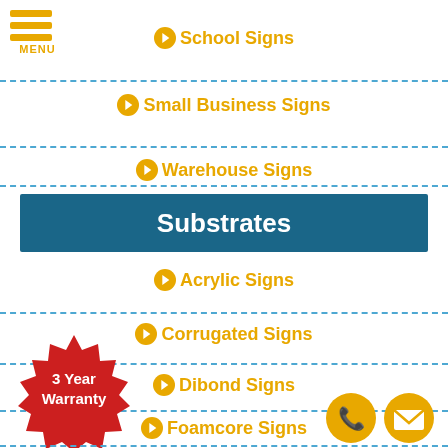[Figure (logo): Hamburger menu icon with three orange bars and MENU text below]
School Signs
Small Business Signs
Warehouse Signs
Substrates
Acrylic Signs
Corrugated Signs
Dibond Signs
Foamcore Signs
[Figure (illustration): Red starburst badge with '3 Year Warranty' text]
[Figure (illustration): Gold circle phone icon]
[Figure (illustration): Gold circle email icon]